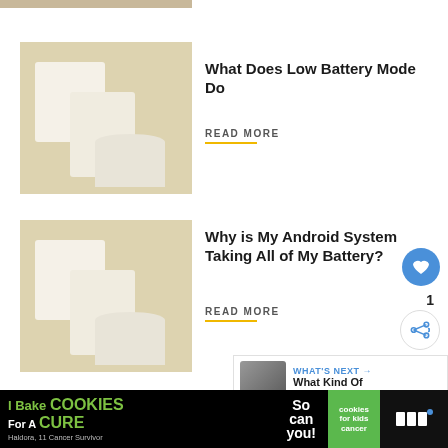[Figure (photo): Partial view of geometric white cylinder pedestals on beige background at top of page]
[Figure (photo): White geometric cylinder/box pedestals on beige/cream background]
What Does Low Battery Mode Do
READ MORE
[Figure (photo): White geometric cylinder/box pedestals on beige/cream background]
Why is My Android System Taking All of My Battery?
READ MORE
[Figure (photo): White geometric cylinder/box pedestals on beige/cream background, partially visible]
What Is the Battery S... 9 Power
READ MORE
[Figure (screenshot): What's Next promo box with thumbnail and text: What Kind Of Battery Doe...]
[Figure (photo): Advertisement banner: I Bake Cookies For A Cure - Haldora, 11 Cancer Survivor, So can you! - cookies for kids cancer]